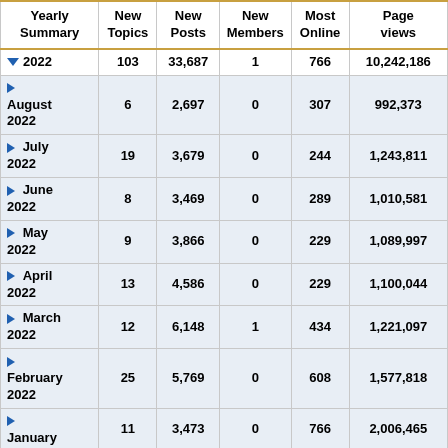| Yearly Summary | New Topics | New Posts | New Members | Most Online | Page views |
| --- | --- | --- | --- | --- | --- |
| 2022 | 103 | 33,687 | 1 | 766 | 10,242,186 |
| August 2022 | 6 | 2,697 | 0 | 307 | 992,373 |
| July 2022 | 19 | 3,679 | 0 | 244 | 1,243,811 |
| June 2022 | 8 | 3,469 | 0 | 289 | 1,010,581 |
| May 2022 | 9 | 3,866 | 0 | 229 | 1,089,997 |
| April 2022 | 13 | 4,586 | 0 | 229 | 1,100,044 |
| March 2022 | 12 | 6,148 | 1 | 434 | 1,221,097 |
| February 2022 | 25 | 5,769 | 0 | 608 | 1,577,818 |
| January | 11 | 3,473 | 0 | 766 | 2,006,465 |